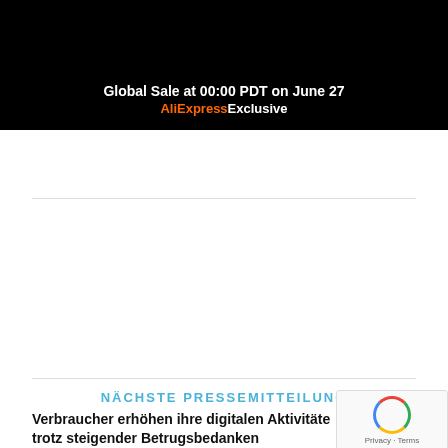[Figure (screenshot): Black banner with text 'Global Sale at 00:00 PDT on June 27' and 'AliExpress Exclusive' in orange and white]
[Figure (infographic): Social sharing buttons: Facebook teilen (blue), Twitter twittern (light blue), Xing teilen (teal), E-Mail (gray), info button (light gray)]
NÄCHSTE PRESSEMITTEILUNG
Verbraucher erhöhen ihre digitalen Aktivitäten trotz steigender Betrugsbedanken